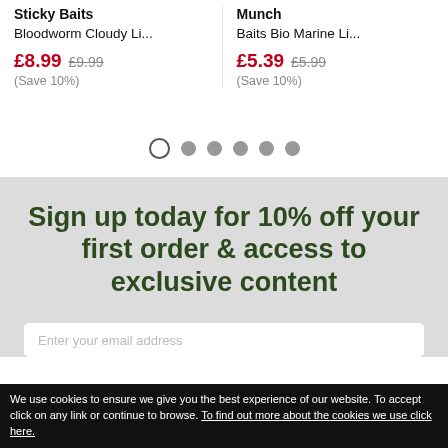Sticky Baits
Bloodworm Cloudy Li...
£8.99 £9.99 (Save 10%)
Munch
Baits Bio Marine Li...
£5.39 £5.99 (Save 10%)
[Figure (other): Carousel pagination dots: one open circle and five filled grey circles]
Sign up today for 10% off your first order & access to exclusive content
Enter your email address
We use cookies to ensure we give you the best experience of our website. To accept click on any link or continue to browse. To find out more about the cookies we use click here.